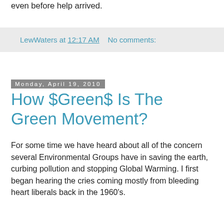even before help arrived.
LewWaters at 12:17 AM   No comments:
Monday, April 19, 2010
How $Green$ Is The Green Movement?
For some time we have heard about all of the concern several Environmental Groups have in saving the earth, curbing pollution and stopping Global Warming. I first began hearing the cries coming mostly from bleeding heart liberals back in the 1960’s.
Who would have thought that such “grassroots” groups, opposed to big business would themselves become very wealthy big businesses?
Not only do we see massive hypocrisy as they travel the globe warning others of the hazards of not following their